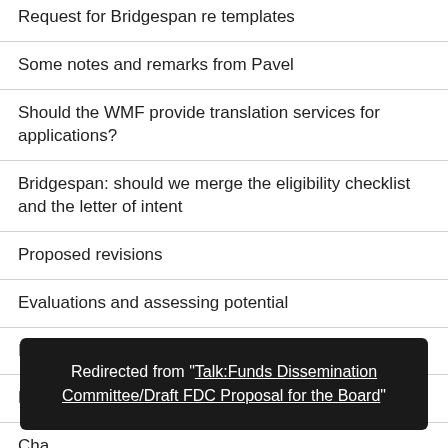Request for Bridgespan re templates
Some notes and remarks from Pavel
Should the WMF provide translation services for applications?
Bridgespan: should we merge the eligibility checklist and the letter of intent
Proposed revisions
Evaluations and assessing potential
It's in a mess
FDC Advisory Group meeting notes
Cha...
Gr...
Redirected from "Talk:Funds Dissemination Committee/Draft FDC Proposal for the Board"